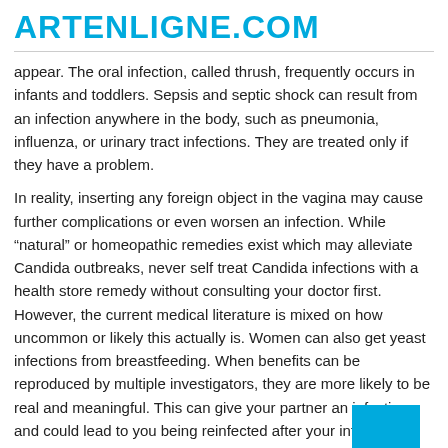ARTENLIGNE.COM
appear. The oral infection, called thrush, frequently occurs in infants and toddlers. Sepsis and septic shock can result from an infection anywhere in the body, such as pneumonia, influenza, or urinary tract infections. They are treated only if they have a problem.
In reality, inserting any foreign object in the vagina may cause further complications or even worsen an infection. While “natural” or homeopathic remedies exist which may alleviate Candida outbreaks, never self treat Candida infections with a health store remedy without consulting your doctor first. However, the current medical literature is mixed on how uncommon or likely this actually is. Women can also get yeast infections from breastfeeding. When benefits can be reproduced by multiple investigators, they are more likely to be real and meaningful. This can give your partner an infection and could lead to you being reinfected after your infection clears up (Donders et al. )